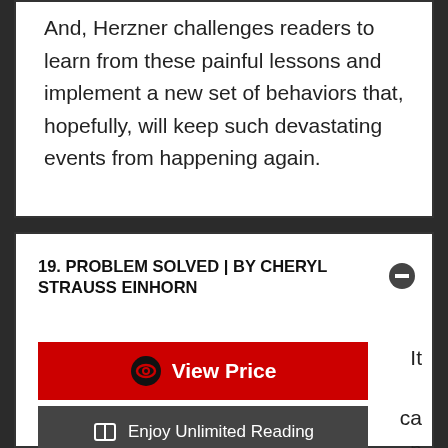And, Herzner challenges readers to learn from these painful lessons and implement a new set of behaviors that, hopefully, will keep such devastating events from happening again.
19. PROBLEM SOLVED | BY CHERYL STRAUSS EINHORN
[Figure (screenshot): Red 'View Price' button with eye icon, dark gray 'Enjoy Unlimited Reading' button with book icon, and black 'Enjoy UNLIMITED Summaries' button with open book icon]